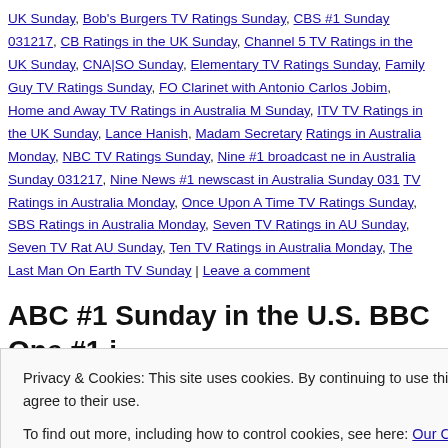UK Sunday, Bob's Burgers TV Ratings Sunday, CBS #1 Sunday 031217, CB Ratings in the UK Sunday, Channel 5 TV Ratings in the UK Sunday, CNA|SO Sunday, Elementary TV Ratings Sunday, Family Guy TV Ratings Sunday, FO Clarinet with Antonio Carlos Jobim, Home and Away TV Ratings in Australia M Sunday, ITV TV Ratings in the UK Sunday, Lance Hanish, Madam Secretary Ratings in Australia Monday, NBC TV Ratings Sunday, Nine #1 broadcast ne in Australia Sunday 031217, Nine News #1 newscast in Australia Sunday 031 TV Ratings in Australia Monday, Once Upon A Time TV Ratings Sunday, SBS Ratings in Australia Monday, Seven TV Ratings in AU Sunday, Seven TV Rat AU Sunday, Ten TV Ratings in Australia Monday, The Last Man On Earth TV Sunday | Leave a comment
ABC #1 Sunday in the U.S. BBC One #1 in AU. UNI #1 HDN.
Posted on February 27, 2017 by overtheshouldermlb
Privacy & Cookies: This site uses cookies. By continuing to use this website, you agree to their use.
To find out more, including how to control cookies, see here: Our Cookie Policy
Close and accept